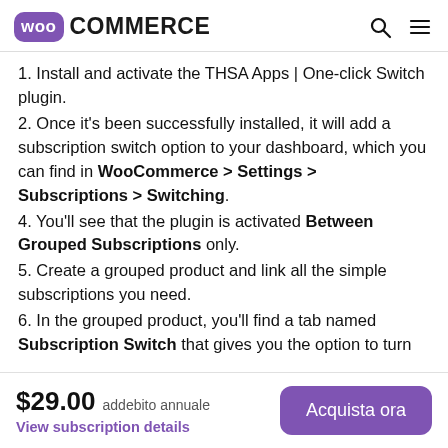WooCommerce
1. Install and activate the THSA Apps | One-click Switch plugin.
2. Once it's been successfully installed, it will add a subscription switch option to your dashboard, which you can find in WooCommerce > Settings > Subscriptions > Switching.
4. You'll see that the plugin is activated Between Grouped Subscriptions only.
5. Create a grouped product and link all the simple subscriptions you need.
6. In the grouped product, you'll find a tab named Subscription Switch that gives you the option to turn
$29.00 addebito annuale View subscription details Acquista ora